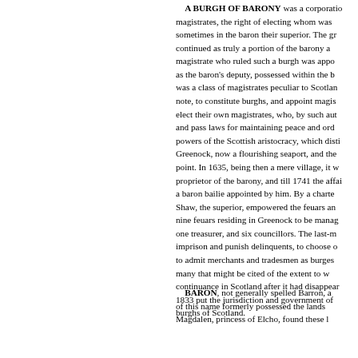A BURGH OF BARONY was a corporation magistrates, the right of electing whom was sometimes in the baron their superior. The ground continued as truly a portion of the barony and magistrate who ruled such a burgh was appointed as the baron's deputy, possessed within the burgh was a class of magistrates peculiar to Scotland note, to constitute burghs, and appoint magistrates elect their own magistrates, who, by such authority and pass laws for maintaining peace and order. powers of the Scottish aristocracy, which distinguished Greenock, now a flourishing seaport, and the point. In 1635, being then a mere village, it was proprietor of the barony, and till 1741 the affairs a baron bailie appointed by him. By a charter Shaw, the superior, empowered the feuars and nine feuars residing in Greenock to be managed one treasurer, and six councillors. The last-mentioned imprison and punish delinquents, to choose officers to admit merchants and tradesmen as burgesses many that might be cited of the extent to which continuance in Scotland after it had disappeared 1833 put the jurisdiction and government of all burghs of Scotland.
BARON, not generally spelled Barron, a of this name formerly possessed the lands of Magdalen, princess of Elcho, found these lands